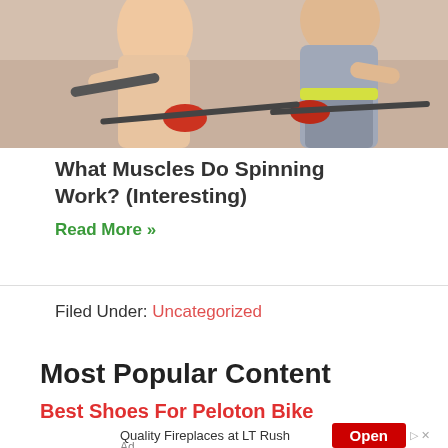[Figure (photo): Photo of people on spinning/cycling bikes in a gym, showing upper bodies and handlebars, cropped to show legs and torsos]
What Muscles Do Spinning Work? (Interesting)
Read More »
Filed Under: Uncategorized
Most Popular Content
Best Shoes For Peloton Bike
Quality Fireplaces at LT Rush   Open   Ad